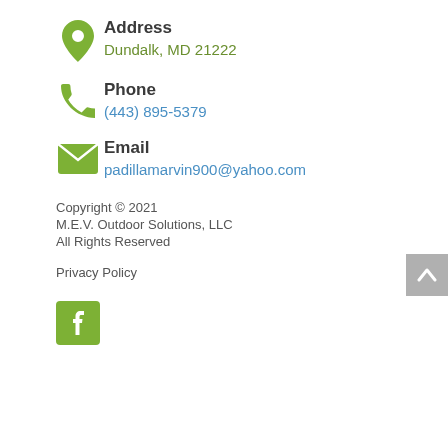Address
Dundalk, MD 21222
Phone
(443) 895-5379
Email
padillamarvin900@yahoo.com
Copyright © 2021
M.E.V. Outdoor Solutions, LLC
All Rights Reserved
Privacy Policy
[Figure (logo): Facebook button icon — green square with white f letter]